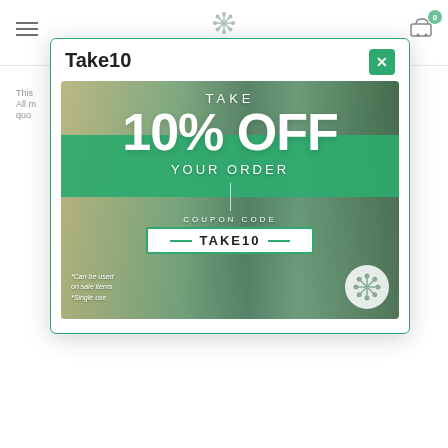VITA SOUL — navigation header with hamburger menu and cart (0 items)
This ... All m... quo...
[Figure (screenshot): Vita Soul e-commerce website modal popup showing a promotional coupon. Title: Take10. Image shows two women with arms raised in a field. Text overlay: TAKE 10% OFF YOUR ORDER. COUPON CODE: TAKE10. Notes: *Can be used on sale items *Single use.]